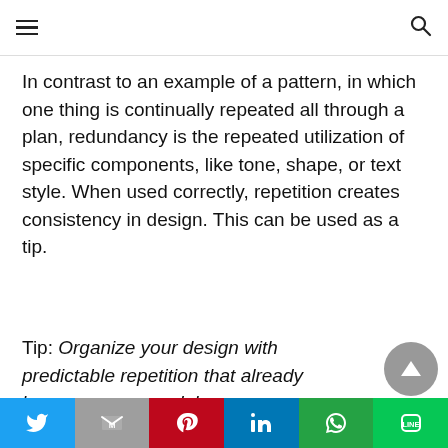In contrast to an example of a pattern, in which one thing is continually repeated all through a plan, redundancy is the repeated utilization of specific components, like tone, shape, or text style. When used correctly, repetition creates consistency in design. This can be used as a tip.
Tip: Organize your design with predictable repetition that already becomes your model.
Twitter | Gmail | Pinterest | LinkedIn | WhatsApp | Line